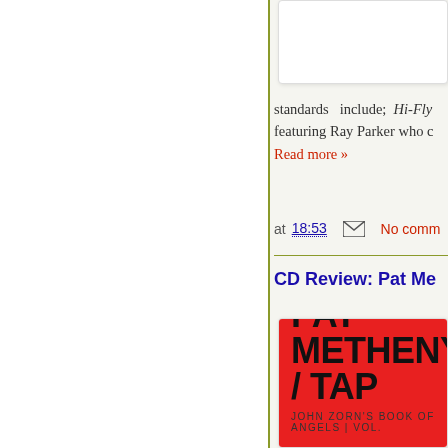standards   include;  Hi-Fly... featuring Ray Parker who c...
Read more »
at 18:53   [email icon]   No comm...
CD Review: Pat Me...
[Figure (illustration): Album cover with red background showing bold black text: PAT METHENY / TAP with subtitle JOHN ZORN'S BOOK OF ANGELS | VOL...]